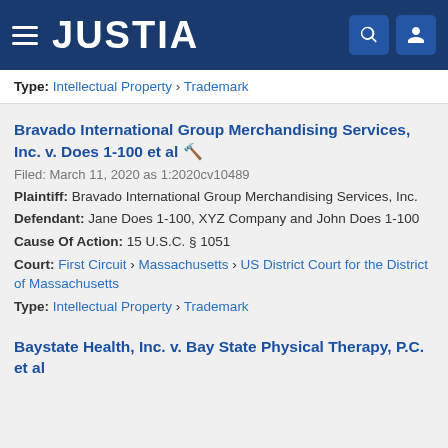[Figure (screenshot): Justia website header with logo, hamburger menu, search and user icons on dark blue background]
Type: Intellectual Property › Trademark
Bravado International Group Merchandising Services, Inc. v. Does 1-100 et al
Filed: March 11, 2020 as 1:2020cv10489
Plaintiff: Bravado International Group Merchandising Services, Inc.
Defendant: Jane Does 1-100, XYZ Company and John Does 1-100
Cause Of Action: 15 U.S.C. § 1051
Court: First Circuit › Massachusetts › US District Court for the District of Massachusetts
Type: Intellectual Property › Trademark
Baystate Health, Inc. v. Bay State Physical Therapy, P.C. et al